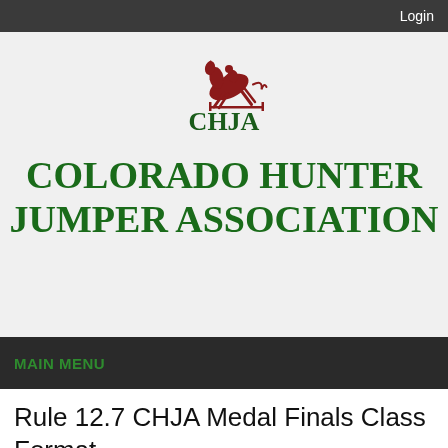Login
[Figure (logo): CHJA logo with a dark red horse and rider jumping over a fence, with the letters CHJA in dark green serif font below]
COLORADO HUNTER JUMPER ASSOCIATION
MAIN MENU
Rule 12.7 CHJA Medal Finals Class Format